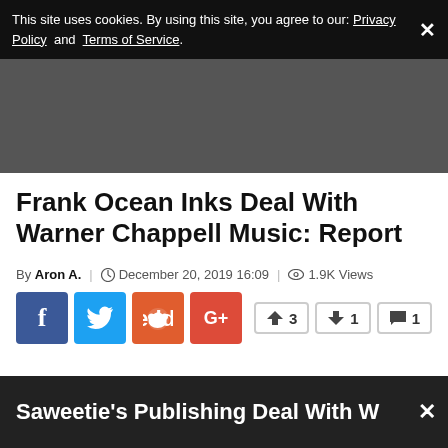This site uses cookies. By using this site, you agree to our: Privacy Policy and Terms of Service.
[Figure (other): Dark gray advertisement placeholder area]
Frank Ocean Inks Deal With Warner Chappell Music: Report
By Aron A. | December 20, 2019 16:09 | 1.9K Views
Social share buttons: Facebook, Twitter, Reddit, Google+. Vote counts: 3 upvotes, 1 downvote, 1 comment.
Saweetie's Publishing Deal With W